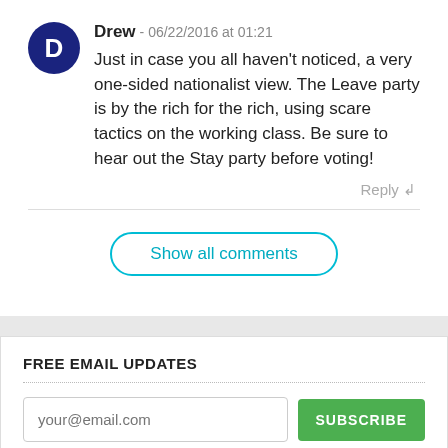Drew - 06/22/2016 at 01:21
Just in case you all haven't noticed, a very one-sided nationalist view. The Leave party is by the rich for the rich, using scare tactics on the working class. Be sure to hear out the Stay party before voting!
Reply
Show all comments
FREE EMAIL UPDATES
your@email.com
SUBSCRIBE
CATEGORIES